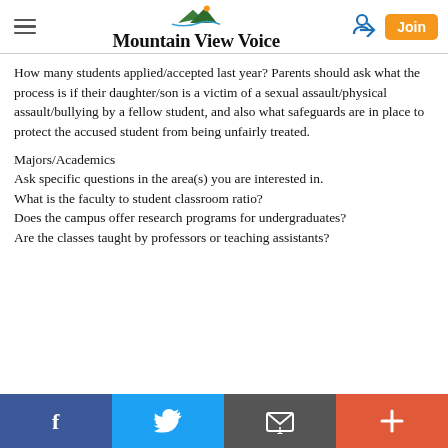Mountain View Voice
How many students applied/accepted last year? Parents should ask what the process is if their daughter/son is a victim of a sexual assault/physical assault/bullying by a fellow student, and also what safeguards are in place to protect the accused student from being unfairly treated.
Majors/Academics
Ask specific questions in the area(s) you are interested in.
What is the faculty to student classroom ratio?
Does the campus offer research programs for undergraduates?
Are the classes taught by professors or teaching assistants?
Facebook | Twitter | Email | +